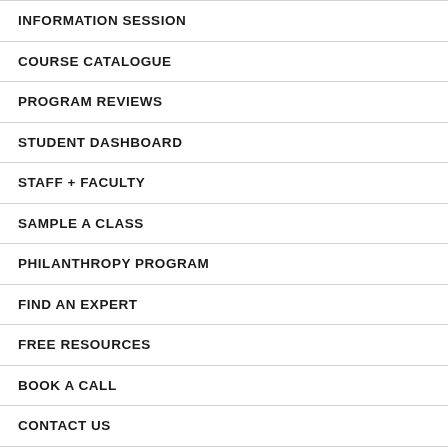INFORMATION SESSION
COURSE CATALOGUE
PROGRAM REVIEWS
STUDENT DASHBOARD
STAFF + FACULTY
SAMPLE A CLASS
PHILANTHROPY PROGRAM
FIND AN EXPERT
FREE RESOURCES
BOOK A CALL
CONTACT US
PROGRAM FAQ
TERMS AND CONDITIONS